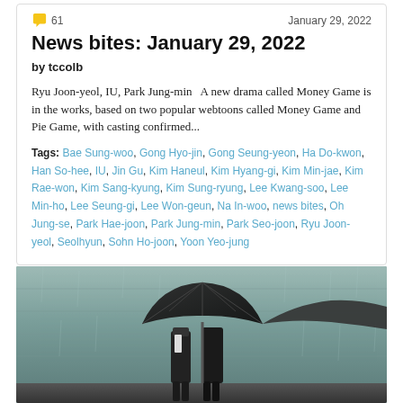61  January 29, 2022
News bites: January 29, 2022
by tccolb
Ryu Joon-yeol, IU, Park Jung-min   A new drama called Money Game is in the works, based on two popular webtoons called Money Game and Pie Game, with casting confirmed...
Tags: Bae Sung-woo, Gong Hyo-jin, Gong Seung-yeon, Ha Do-kwon, Han So-hee, IU, Jin Gu, Kim Haneul, Kim Hyang-gi, Kim Min-jae, Kim Rae-won, Kim Sang-kyung, Kim Sung-ryung, Lee Kwang-soo, Lee Min-ho, Lee Seung-gi, Lee Won-geun, Na In-woo, news bites, Oh Jung-se, Park Hae-joon, Park Jung-min, Park Seo-joon, Ryu Joon-yeol, Seolhyun, Sohn Ho-joon, Yoon Yeo-jung
[Figure (photo): Two people standing in rain under a large dark umbrella against a concrete wall background]